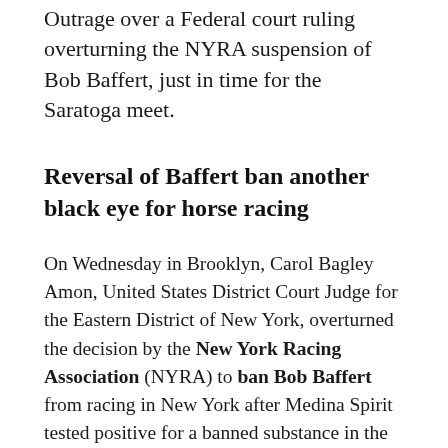Outrage over a Federal court ruling overturning the NYRA suspension of Bob Baffert, just in time for the Saratoga meet.
Reversal of Baffert ban another black eye for horse racing
On Wednesday in Brooklyn, Carol Bagley Amon, United States District Court Judge for the Eastern District of New York, overturned the decision by the New York Racing Association (NYRA) to ban Bob Baffert from racing in New York after Medina Spirit tested positive for a banned substance in the Kentucky Derby. In her decision, the judge said that the NYRA violated Baffert's constitutional rights by rushing to judgement